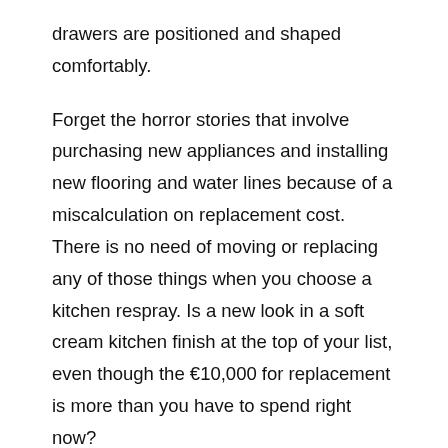drawers are positioned and shaped comfortably.
Forget the horror stories that involve purchasing new appliances and installing new flooring and water lines because of a miscalculation on replacement cost. There is no need of moving or replacing any of those things when you choose a kitchen respray. Is a new look in a soft cream kitchen finish at the top of your list, even though the €10,000 for replacement is more than you have to spend right now?
Believe it or not, those quality cupboards and cabinets in the kitchen are worth almost 80 percent in savings when you choose a respray